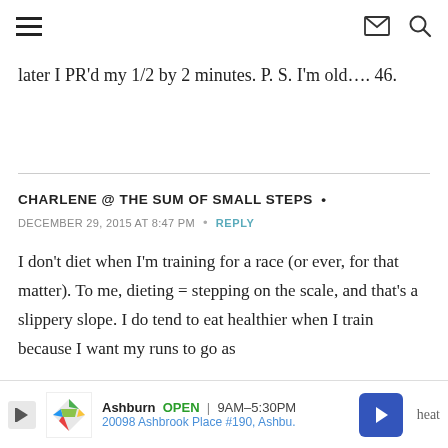[hamburger menu] [envelope icon] [search icon]
later I PR'd my 1/2 by 2 minutes. P. S. I'm old…. 46.
CHARLENE @ THE SUM OF SMALL STEPS •
DECEMBER 29, 2015 AT 8:47 PM  •  REPLY
I don't diet when I'm training for a race (or ever, for that matter). To me, dieting = stepping on the scale, and that's a slippery slope. I do tend to eat healthier when I train because I want my runs to go as
Ashburn  OPEN  9AM–5:30PM  20098 Ashbrook Place #190, Ashbu.  heat